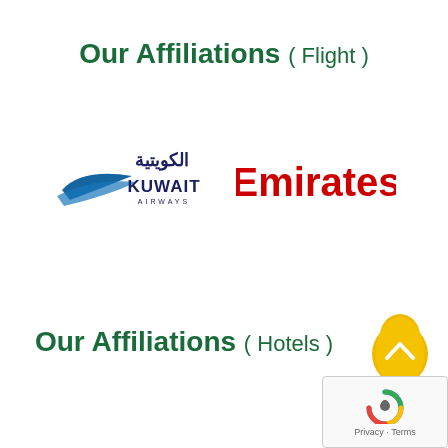Our Affiliations ( Flight )
[Figure (logo): Kuwait Airways logo with Arabic text and blue wing graphic, and Emirates bold red text logo side by side]
Our Affiliations ( Hotels )
[Figure (other): Orange/yellow egg-shaped scroll-to-top button with upward chevron arrow]
[Figure (other): Google reCAPTCHA badge with Privacy and Terms links]